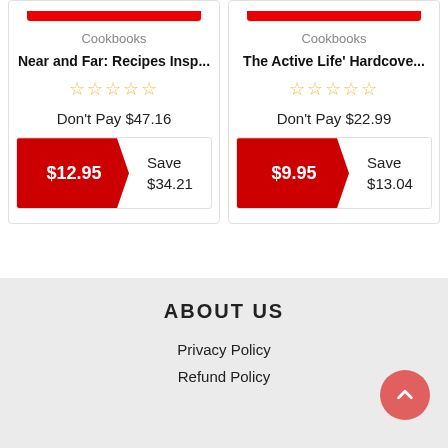Cookbooks
Near and Far: Recipes Insp...
Don't Pay $47.16
$12.95 Save $34.21
Cookbooks
The Active Life' Hardcove...
Don't Pay $22.99
$9.95 Save $13.04
ABOUT US
Privacy Policy
Refund Policy